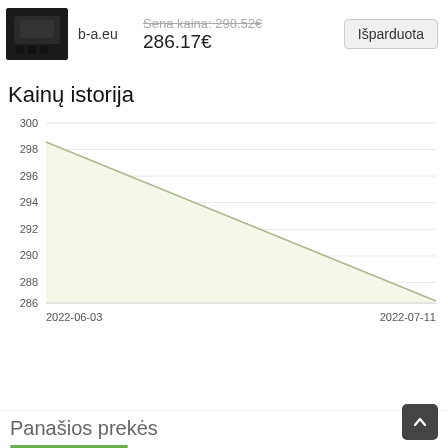[Figure (photo): Black electronic device/adapter product image]
b-a.eu
Sena kaina: 298.52€
286.17€
Išparduota
Kainų istorija
[Figure (area-chart): Kainų istorija]
Panašios prekės